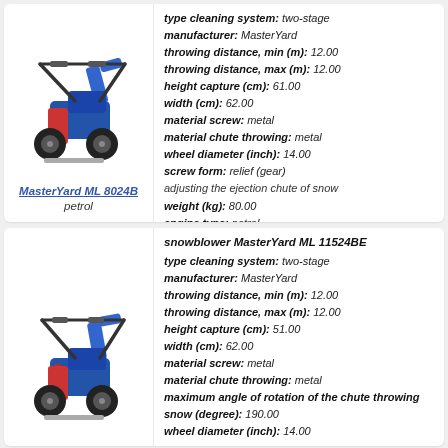[Figure (photo): Blue petrol snowblower MasterYard ML 8024B with black handles]
MasterYard ML 8024B
petrol
type cleaning system: two-stage
manufacturer: MasterYard
throwing distance, min (m): 12.00
throwing distance, max (m): 12.00
height capture (cm): 61.00
width (cm): 62.00
material screw: metal
material chute throwing: metal
wheel diameter (inch): 14.00
screw form: relief (gear)
adjusting the ejection chute of snow
weight (kg): 80.00
engine type: petrol
engine model: Briggs and Stratton
transmission: speed gearbox
fuel tank capacity (L): 3.10
number of cycles of the engine: four-cycle
self-propelled
more information
[Figure (photo): Blue petrol snowblower MasterYard ML 11524BE with black handles]
snowblower MasterYard ML 11524BE
type cleaning system: two-stage
manufacturer: MasterYard
throwing distance, min (m): 12.00
throwing distance, max (m): 12.00
height capture (cm): 51.00
width (cm): 62.00
material screw: metal
material chute throwing: metal
maximum angle of rotation of the chute throwing snow (degree): 190.00
wheel diameter (inch): 14.00